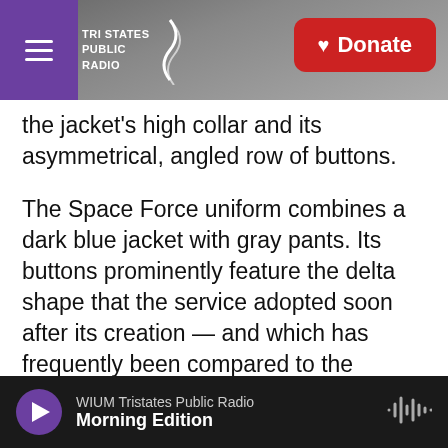Tri States Public Radio | Donate
the jacket's high collar and its asymmetrical, angled row of buttons.
The Space Force uniform combines a dark blue jacket with gray pants. Its buttons prominently feature the delta shape that the service adopted soon after its creation — and which has frequently been compared to the Starfleet emblem from the venerable Star Trek franchise.
The six buttons symbolize the Space Force's status as the sixth branch of the U.S. military, Raymond said Tuesday, as two guardians — the name for Space Force service members — modeled the
WIUM Tristates Public Radio | Morning Edition